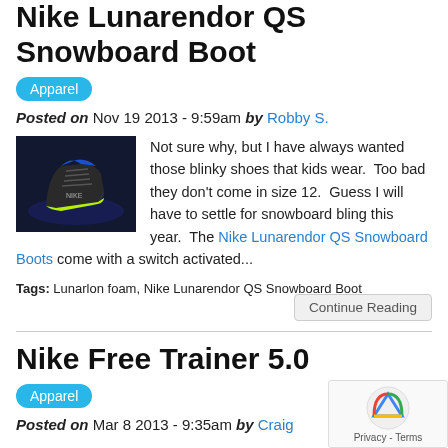Nike Lunarendor QS Snowboard Boot
Apparel
Posted on Nov 19 2013 - 9:59am by Robby S.
[Figure (photo): Nike Lunarendor QS Snowboard Boot product photo on dark blue background]
Not sure why, but I have always wanted those blinky shoes that kids wear.  Too bad they don't come in size 12.  Guess I will have to settle for snowboard bling this year.  The Nike Lunarendor QS Snowboard Boots come with a switch activated...
Tags: Lunarlon foam, Nike Lunarendor QS Snowboard Boot
Continue Reading
Nike Free Trainer 5.0
Apparel
Posted on Mar 8 2013 - 9:35am by Craig